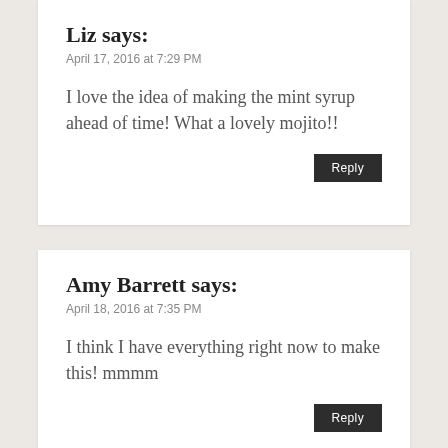Liz says:
April 17, 2016 at 7:29 PM
I love the idea of making the mint syrup ahead of time! What a lovely mojito!!
Amy Barrett says:
April 18, 2016 at 7:35 PM
I think I have everything right now to make this! mmmm